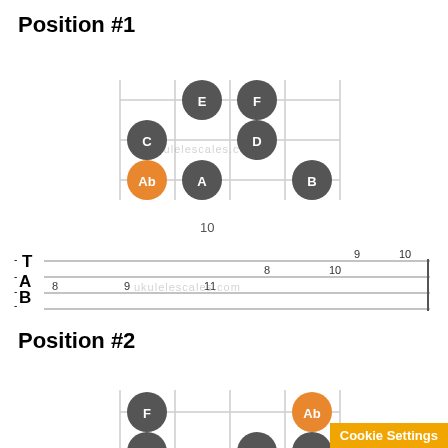Position #1
[Figure (other): Ukulele fretboard diagram for Position #1 showing notes Ab (orange, root), C, E, F, A, D, B as circles on a grid]
10
[Figure (other): TAB notation showing strings T, A, B with fret numbers: 8,9,11 on A string; 8,10 on middle; 9,10 on T string; B string empty]
Position #2
[Figure (other): Ukulele fretboard diagram for Position #2 showing notes F, D, B, E, C, Ab (orange, root), F as circles on a grid]